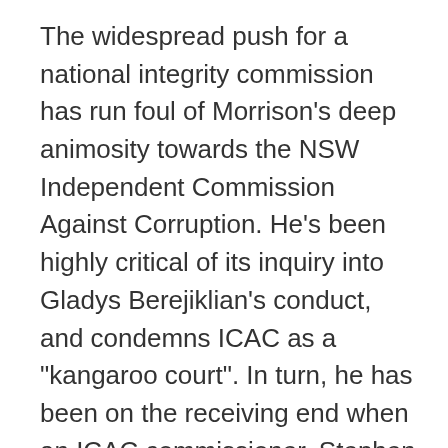The widespread push for a national integrity commission has run foul of Morrison's deep animosity towards the NSW Independent Commission Against Corruption. He's been highly critical of its inquiry into Gladys Berejiklian's conduct, and condemns ICAC as a "kangaroo court". In turn, he has been on the receiving end when an ICAC commissioner, Stephen Rushton, labelled those who used that term "buffoons'". Morrison refuses to compromise on his restrictive model for a federal commission, which has been widely